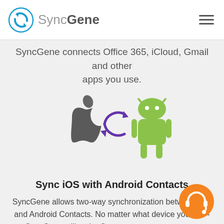SyncGene
SyncGene connects Office 365, iCloud, Gmail and other apps you use.
[Figure (illustration): Apple iOS logo (dark grey apple) and Android logo (green android robot) with a purple sync/refresh arrow between them, indicating two-way synchronization]
Sync iOS with Android Contacts
SyncGene allows two-way synchronization between iOS and Android Contacts. No matter what device you use - SyncGene will make Contact management an ea...
[Figure (illustration): Orange circular support/headset icon in the bottom right corner]